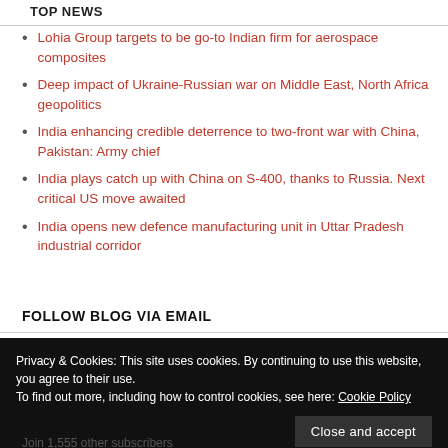TOP NEWS
Lohia Group targets to be go-to Indian firm for aerospace composites
Deep impact of Ukraine-Russian war on Middle East, North Africa geopolitics
India enhancing credible deterrence to two-front war with China, Pakistan: Army chief
India plays catch up with China on S-400, thanks to Russia. Next critical US move awaited
India opens new defence manufacturing unit in Uttar Pradesh industrial corridor
FOLLOW BLOG VIA EMAIL
Privacy & Cookies: This site uses cookies. By continuing to use this website, you agree to their use.
To find out more, including how to control cookies, see here: Cookie Policy
Join 1,555 other subscribers